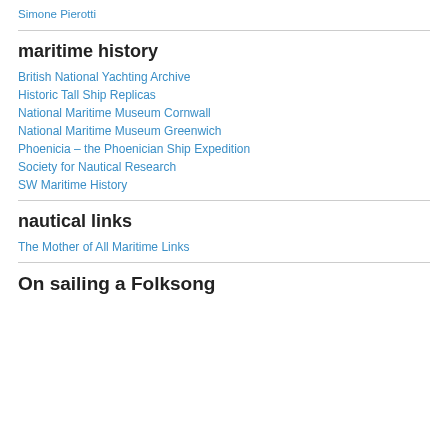Simone Pierotti
maritime history
British National Yachting Archive
Historic Tall Ship Replicas
National Maritime Museum Cornwall
National Maritime Museum Greenwich
Phoenicia – the Phoenician Ship Expedition
Society for Nautical Research
SW Maritime History
nautical links
The Mother of All Maritime Links
On sailing a Folksong